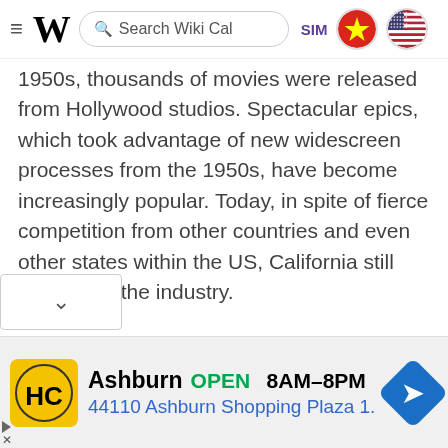≡ W  Search Wiki Cal  SIM  [Vietnam flag] [US flag]
1950s, thousands of movies were released from Hollywood studios. Spectacular epics, which took advantage of new widescreen processes from the 1950s, have become increasingly popular. Today, in spite of fierce competition from other countries and even other states within the US, California still dominates the industry.
Politics
In 2019, Gavin Newsom became the governor of California. Before him, the governor was Jerry Brown.
[Figure (screenshot): Advertisement banner: HC logo (yellow circle with HC text), Ashburn OPEN 8AM–8PM, 44110 Ashburn Shopping Plaza 1., navigation arrow icon]